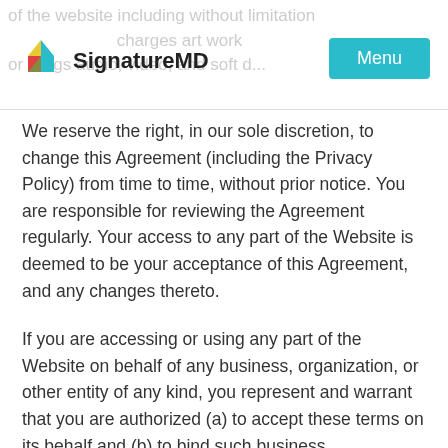of the website including without limitation charges art work or filings audio video and soft d...
[Figure (logo): SignatureMD logo with colorful diamond icon and brand name text]
Menu
We reserve the right, in our sole discretion, to change this Agreement (including the Privacy Policy) from time to time, without prior notice. You are responsible for reviewing the Agreement regularly. Your access to any part of the Website is deemed to be your acceptance of this Agreement, and any changes thereto.
If you are accessing or using any part of the Website on behalf of any business, organization, or other entity of any kind, you represent and warrant that you are authorized (a) to accept these terms on its behalf and (b) to bind such business, organization, or entity to the Agreement.